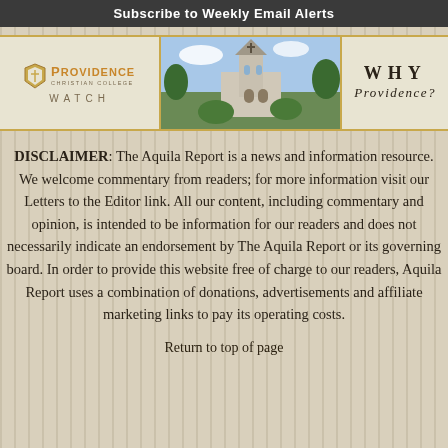Subscribe to Weekly Email Alerts
[Figure (logo): Providence Christian College Watch banner with logo on left, photo of church in center, 'WHY Providence?' text on right]
DISCLAIMER: The Aquila Report is a news and information resource. We welcome commentary from readers; for more information visit our Letters to the Editor link. All our content, including commentary and opinion, is intended to be information for our readers and does not necessarily indicate an endorsement by The Aquila Report or its governing board. In order to provide this website free of charge to our readers, Aquila Report uses a combination of donations, advertisements and affiliate marketing links to pay its operating costs.
Return to top of page